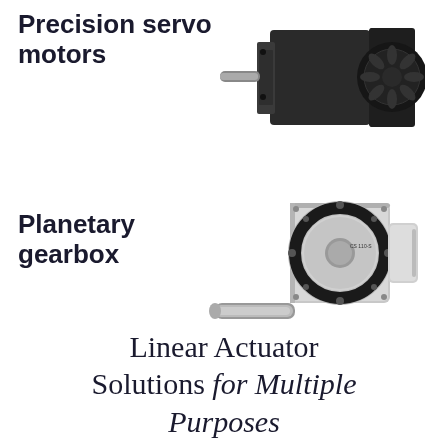Precision servo motors
[Figure (photo): Photo of a precision servo motor, black cylindrical body with mounting flange and shaft extending from the front]
Planetary gearbox
[Figure (photo): Photo of a planetary gearbox, silver/aluminum body with circular disc flange, shaft extending from front, black ring gear visible]
Linear Actuator Solutions for Multiple Purposes